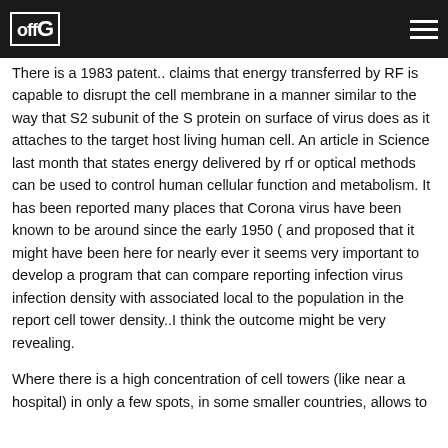offG [logo] [hamburger menu]
There is a 1983 patent.. claims that energy transferred by RF is capable to disrupt the cell membrane in a manner similar to the way that S2 subunit of the S protein on surface of virus does as it attaches to the target host living human cell. An article in Science last month that states energy delivered by rf or optical methods can be used to control human cellular function and metabolism. It has been reported many places that Corona virus have been known to be around since the early 1950 ( and proposed that it might have been here for nearly ever it seems very important to develop a program that can compare reporting infection virus infection density with associated local to the population in the report cell tower density..I think the outcome might be very revealing.
Where there is a high concentration of cell towers (like near a hospital) in only a few spots, in some smaller countries, allows to